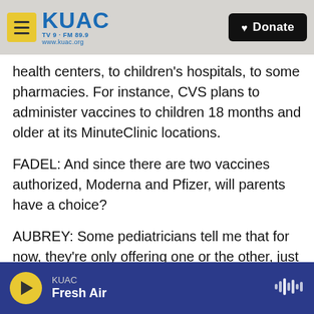KUAC TV 9 · FM 89.9 www.kuac.org | Donate
health centers, to children's hospitals, to some pharmacies. For instance, CVS plans to administer vaccines to children 18 months and older at its MinuteClinic locations.
FADEL: And since there are two vaccines authorized, Moderna and Pfizer, will parents have a choice?
AUBREY: Some pediatricians tell me that for now, they're only offering one or the other, just to, you know, simplify administration. So parents should not be surprised if they don't have a choice, at least
KUAC Fresh Air